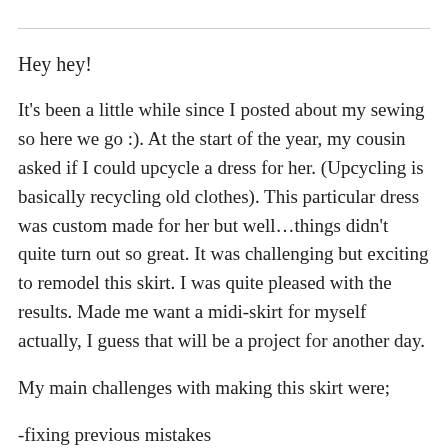Hey hey!
It’s been a little while since I posted about my sewing so here we go :). At the start of the year, my cousin asked if I could upcycle a dress for her. (Upcycling is basically recycling old clothes). This particular dress was custom made for her but well…things didn’t quite turn out so great. It was challenging but exciting to remodel this skirt. I was quite pleased with the results. Made me want a midi-skirt for myself actually, I guess that will be a project for another day.
My main challenges with making this skirt were;
-fixing previous mistakes